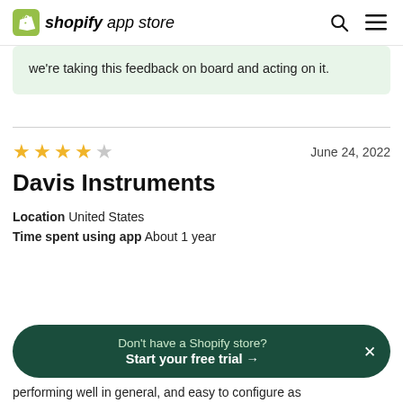shopify app store
we're taking this feedback on board and acting on it.
★★★★☆  June 24, 2022
Davis Instruments
Location  United States
Time spent using app  About 1 year
Don't have a Shopify store? Start your free trial →
performing well in general, and easy to configure as